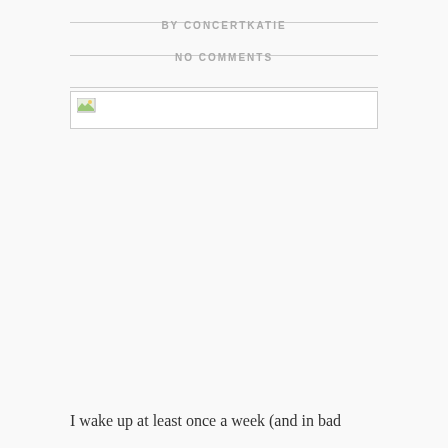BY CONCERTKATIE
NO COMMENTS
[Figure (photo): Broken/missing image placeholder with a small landscape icon in the top-left corner]
I wake up at least once a week (and in bad